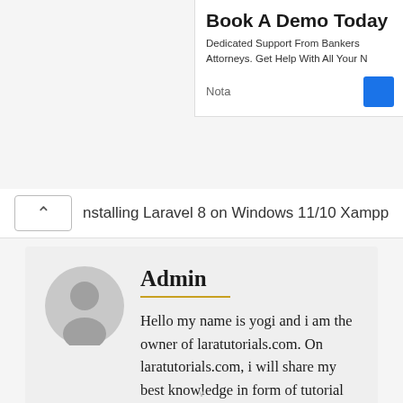[Figure (screenshot): Ad overlay in top-right corner with title 'Book A Demo Today', subtext about Dedicated Support From Bankers and Attorneys, 'Nota' label and blue button]
Book A Demo Today
Dedicated Support From Bankers Attorneys. Get Help With All Your N
Nota
nstalling Laravel 8 on Windows 11/10 Xampp
Admin
Hello my name is yogi and i am the owner of laratutorials.com. On laratutorials.com, i will share my best knowledge in form of tutorial post of PHP, laravel,